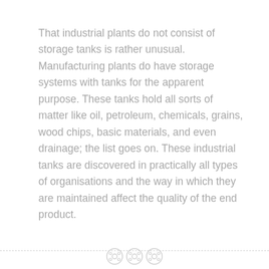That industrial plants do not consist of storage tanks is rather unusual. Manufacturing plants do have storage systems with tanks for the apparent purpose. These tanks hold all sorts of matter like oil, petroleum, chemicals, grains, wood chips, basic materials, and even drainage; the list goes on. These industrial tanks are discovered in practically all types of organisations and the way in which they are maintained affect the quality of the end product.
Tanks, no matter how they are used and exactly what products or substances are placed in them, need regular upkeep and cleansing to guarantee...
— icons —